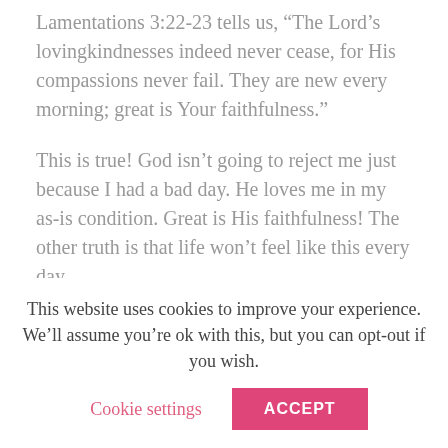Lamentations 3:22-23 tells us, “The Lord’s lovingkindnesses indeed never cease, for His compassions never fail. They are new every morning; great is Your faithfulness.”
This is true! God isn’t going to reject me just because I had a bad day. He loves me in my as-is condition. Great is His faithfulness! The other truth is that life won’t feel like this every day.
I remember when the kids were young and I had a bad day of homeschooling. It always seemed like it was soon followed by a good day. That will be true
This website uses cookies to improve your experience. We’ll assume you’re ok with this, but you can opt-out if you wish.
Cookie settings
ACCEPT